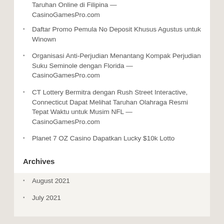Taruhan Online di Filipina — CasinoGamesPro.com
Daftar Promo Pemula No Deposit Khusus Agustus untuk Winown
Organisasi Anti-Perjudian Menantang Kompak Perjudian Suku Seminole dengan Florida — CasinoGamesPro.com
CT Lottery Bermitra dengan Rush Street Interactive, Connecticut Dapat Melihat Taruhan Olahraga Resmi Tepat Waktu untuk Musim NFL — CasinoGamesPro.com
Planet 7 OZ Casino Dapatkan Lucky $10k Lotto
Archives
August 2021
July 2021